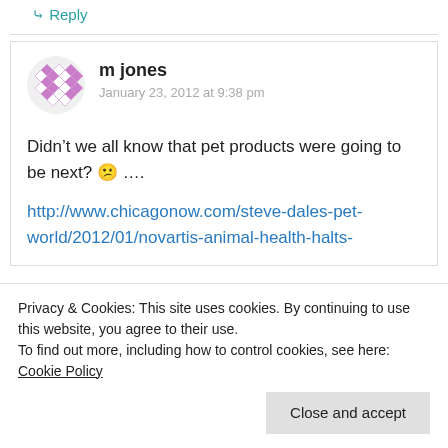↳ Reply
m jones
January 23, 2012 at 9:38 pm
Didn't we all know that pet products were going to be next? 😕 ….
http://www.chicagonow.com/steve-dales-pet-world/2012/01/novartis-animal-health-halts-
Privacy & Cookies: This site uses cookies. By continuing to use this website, you agree to their use.
To find out more, including how to control cookies, see here: Cookie Policy
Close and accept